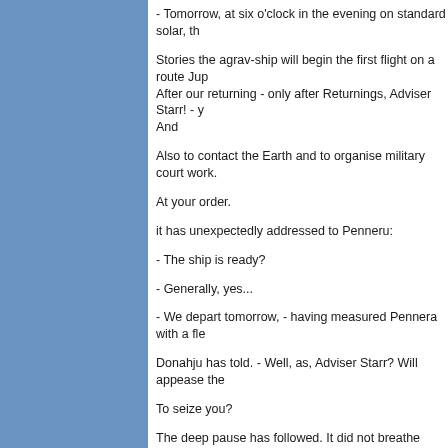[Figure (other): Blue sidebar panel on the left side of the page]
- Tomorrow, at six o'clock in the evening on standard solar, th
Stories the agrav-ship will begin the first flight on a route Jup After our returning - only after Returnings, Adviser Starr! - y And
Also to contact the Earth and to organise military court work.
At your order.
it has unexpectedly addressed to Penneru:
- The ship is ready?
- Generally, yes...
- We depart tomorrow, - having measured Pennera with a fle
Donahju has told. - Well, as, Adviser Starr? Will appease the
To seize you?
The deep pause has followed. It did not breathe almost, Penn
Pocket a plate of a chewing elastic band, has developed and
- has turned white and it was pointed.
it has resolutely leant back on a back of an armchair and une
Icons | Icon Sets | Download Icons | 
Privacy Policy | Terms of Use | Re
Copyright © 2006-2022 Aha-Soft. All rig